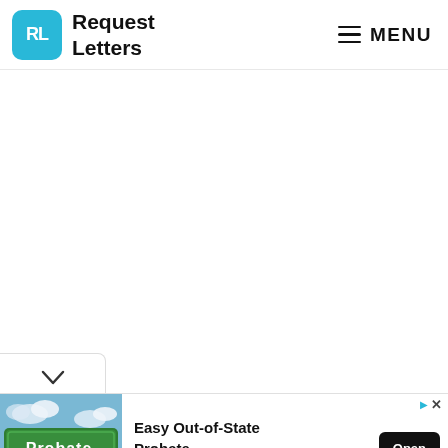[Figure (logo): Request Letters logo with teal RL icon and bold text]
MENU
[Figure (infographic): Advertisement banner showing a Probate street sign photo with text 'Easy Out-of-State Probate' and Open button, sponsored by Rochester Law Center]